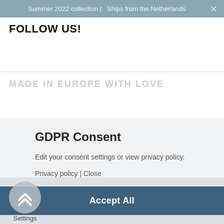Summer 2022 collection | Ships from the Netherlands
FOLLOW US!
MADE IN EUROPE WITH LOVE
GDPR Consent
Edit your consent settings or view privacy policy.
Privacy policy | Close
Accept All
Settings